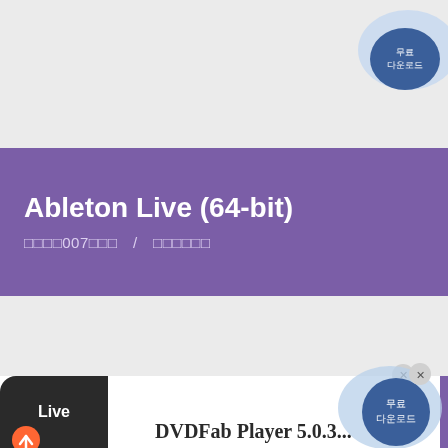Ableton Live (64-bit)
□□□□007□□□  /  □□□□□□
[Figure (screenshot): App icon for Ableton Live showing dark rounded square with 'Live' text in white, and a share arrow icon below it]
[Figure (illustration): Chat/support bubble overlay with blue circle and darker blue inner circle showing Korean text, with close X button and purple strip]
DVDFab Player 5.0.3...